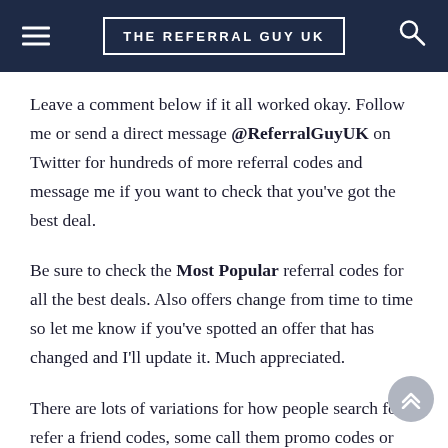THE REFERRAL GUY UK
Leave a comment below if it all worked okay. Follow me or send a direct message @ReferralGuyUK on Twitter for hundreds of more referral codes and message me if you want to check that you've got the best deal.
Be sure to check the Most Popular referral codes for all the best deals. Also offers change from time to time so let me know if you've spotted an offer that has changed and I'll update it. Much appreciated.
There are lots of variations for how people search for refer a friend codes, some call them promo codes or...